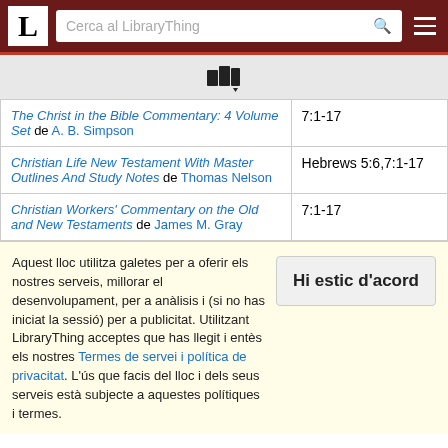[Figure (screenshot): LibraryThing website header with logo L, search bar 'Cerca al LibraryThing', and hamburger menu icon]
[Figure (illustration): Small stacked books icon with a dropdown arrow]
| Book | Passage |
| --- | --- |
| The Christ in the Bible Commentary: 4 Volume Set de A. B. Simpson | 7:1-17 |
| Christian Life New Testament With Master Outlines And Study Notes de Thomas Nelson | Hebrews 5:6,7:1-17 |
| Christian Workers' Commentary on the Old and New Testaments de James M. Gray | 7:1-17 |
Aquest lloc utilitza galetes per a oferir els nostres serveis, millorar el desenvolupament, per a anàlisis i (si no has iniciat la sessió) per a publicitat. Utilitzant LibraryThing acceptes que has llegit i entès els nostres Termes de servei i política de privacitat. L'ús que facis del lloc i dels seus serveis està subjecte a aquestes polítiques i termes.